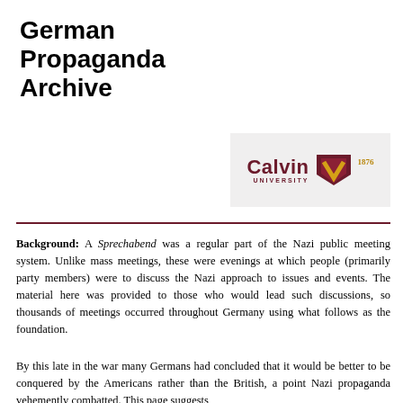German Propaganda Archive
[Figure (logo): Calvin University logo with shield emblem and year 1876]
Background: A Sprechabend was a regular part of the Nazi public meeting system. Unlike mass meetings, these were evenings at which people (primarily party members) were to discuss the Nazi approach to issues and events. The material here was provided to those who would lead such discussions, so thousands of meetings occurred throughout Germany using what follows as the foundation.
By this late in the war many Germans had concluded that it would be better to be conquered by the Americans rather than the British, a point Nazi propaganda vehemently combatted. This page suggests